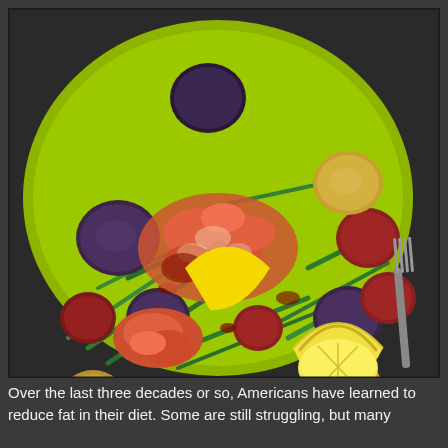[Figure (photo): A green plate with a nicoise-style salad featuring salmon, green beans, mixed small potatoes (purple, red, yellow), and a lemon wedge. A fork is visible on the right side of the plate.]
Over the last three decades or so, Americans have learned to reduce fat in their diet. Some are still struggling, but many